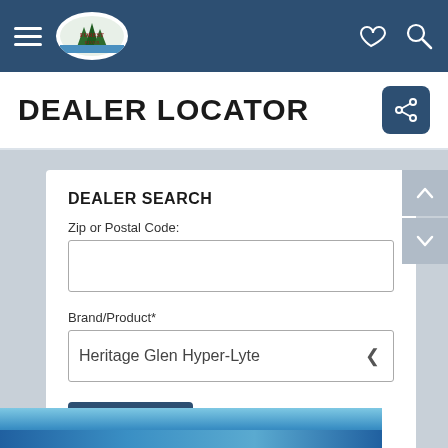Forest River RV navigation bar with hamburger menu, logo, heart icon, and search icon
DEALER LOCATOR
DEALER SEARCH
Zip or Postal Code:
Brand/Product*
Heritage Glen Hyper-Lyte
Search